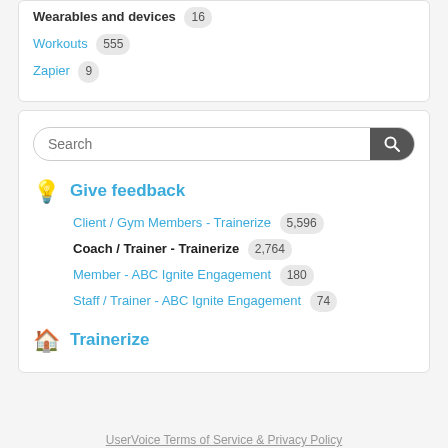Wearables and devices  16
Workouts  555
Zapier  9
Search
Give feedback
Client / Gym Members - Trainerize  5,596
Coach / Trainer - Trainerize  2,764
Member - ABC Ignite Engagement  180
Staff / Trainer - ABC Ignite Engagement  74
Trainerize
UserVoice Terms of Service & Privacy Policy